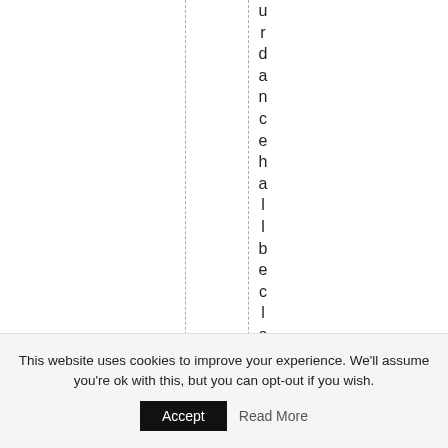urdancehallbecloseddownn
This website uses cookies to improve your experience. We'll assume you're ok with this, but you can opt-out if you wish.
Accept
Read More